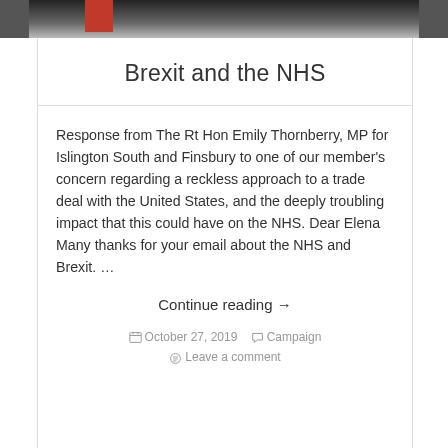[Figure (photo): Dark photograph strip at top of blog post, partially showing an image with a red block on the left side]
Brexit and the NHS
Response from The Rt Hon Emily Thornberry, MP for Islington South and Finsbury to one of our member's concern regarding a reckless approach to a trade deal with the United States, and the deeply troubling impact that this could have on the NHS. Dear Elena  Many thanks for your email about the NHS and Brexit. …
Continue reading →
October 27, 2019   Campaign   Leave a comment